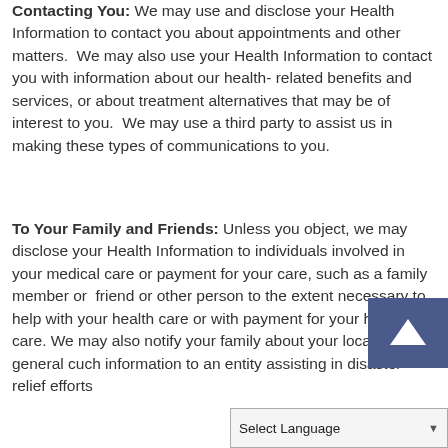Contacting You: We may use and disclose your Health Information to contact you about appointments and other matters.  We may also use your Health Information to contact you with information about our health-related benefits and services, or about treatment alternatives that may be of interest to you.  We may use a third party to assist us in making these types of communications to you.
To Your Family and Friends: Unless you object, we may disclose your Health Information to individuals involved in your medical care or payment for your care, such as a family member or  friend or other person to the extent necessary to help with your health care or with payment for your health care. We may also notify your family about your location or general [condition, such as...] information to an entity assisting in disaster relief efforts...